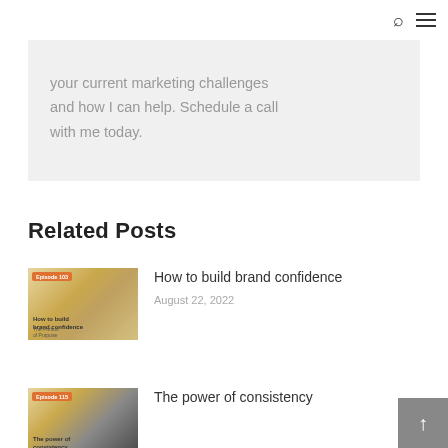search icon and menu icon
your current marketing challenges and how I can help. Schedule a call with me today.
Related Posts
[Figure (photo): Thumbnail image for blog post: How to build brand confidence. Shows text overlay on left and a woman with glasses smiling on right.]
How to build brand confidence
August 22, 2022
[Figure (photo): Thumbnail image for blog post: The power of consistency. Shows text overlay on left and a laptop/desk scene on right.]
The power of consistency